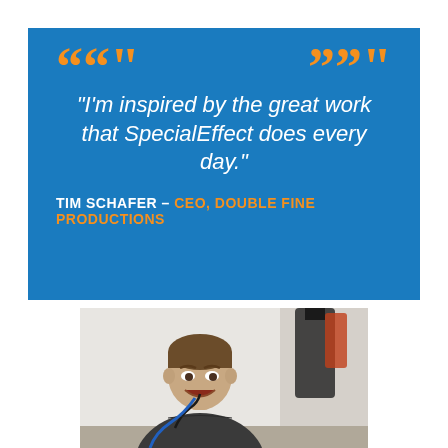“I’m inspired by the great work that SpecialEffect does every day.”
TIM SCHAFER – CEO, DOUBLE FINE PRODUCTIONS
[Figure (photo): A man smiling and laughing, seated at a table, wearing a dark hoodie, with a black cord near his mouth. Background shows white wall and hanging jackets.]